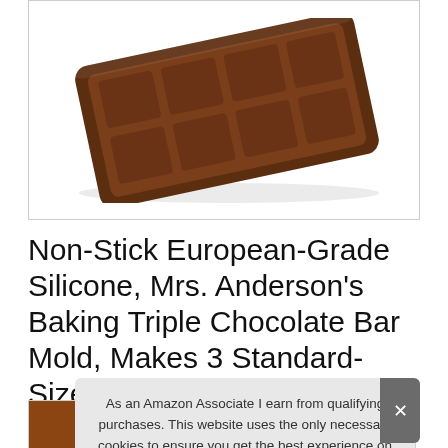[Figure (photo): Brown silicone chocolate bar mold with multiple rectangular cavities, shown at an angle on a white background inside a bordered product image box.]
Non-Stick European-Grade Silicone, Mrs. Anderson's Baking Triple Chocolate Bar Mold, Makes 3 Standard-Sized Chocolate Bars
As an Amazon Associate I earn from qualifying purchases. This website uses the only necessary cookies to ensure you get the best experience on our website. More information
[Figure (photo): Bottom strip showing partial thumbnail images of related products.]